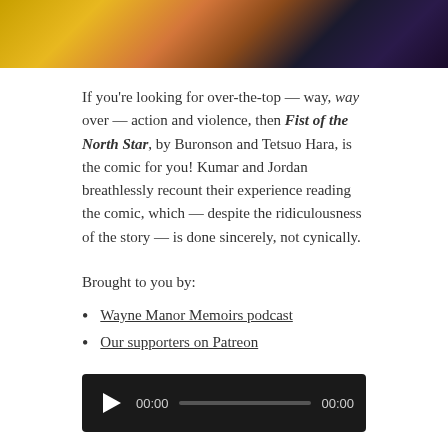[Figure (illustration): Cropped comic book illustration showing muscular characters in an action scene with colors of gold, orange, brown, and dark purple/blue]
If you're looking for over-the-top — way, way over — action and violence, then Fist of the North Star, by Buronson and Tetsuo Hara, is the comic for you! Kumar and Jordan breathlessly recount their experience reading the comic, which — despite the ridiculousness of the story — is done sincerely, not cynically.
Brought to you by:
Wayne Manor Memoirs podcast
Our supporters on Patreon
[Figure (screenshot): Audio player widget with dark background, play button, time display 00:00, progress bar, and end time 00:00]
Podcast: Play in new window | Download